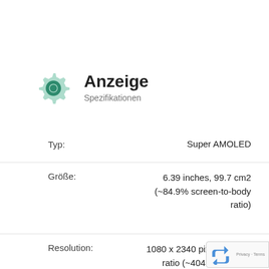[Figure (screenshot): Android display settings page header with gear icon, title 'Anzeige' and subtitle 'Spezifikationen']
Anzeige
Spezifikationen
| Eigenschaft | Wert |
| --- | --- |
| Typ: | Super AMOLED |
| Größe: | 6.39 inches, 99.7 cm2 (~84.9% screen-to-body ratio) |
| Resolution: | 1080 x 2340 pixels, 19.5:9 ratio (~404 ppi density |